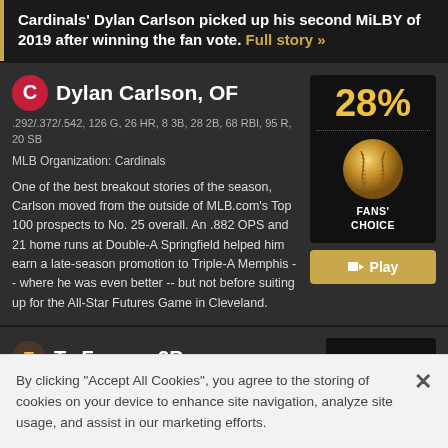Cardinals' Dylan Carlson picked up his second MiLBY of 2019 after winning the fan vote. Full story »
Dylan Carlson, OF
.292/.372/.542, 126 G, 26 HR, 8 3B, 28 2B, 68 RBI, 95 R, 20 SB
MLB Organization: Cardinals
One of the best breakout stories of the season, Carlson moved from the outside of MLB.com's Top 100 prospects to No. 25 overall. An .882 OPS and 21 home runs at Double-A Springfield helped him earn a late-season promotion to Triple-A Memphis -- where he was even better -- but not before suiting up for the All-Star Futures Game in Cleveland.
[Figure (other): 28% Fans' Choice badge with golden baseball]
Ty France, 3B
By clicking "Accept All Cookies", you agree to the storing of cookies on your device to enhance site navigation, analyze site usage, and assist in our marketing efforts.